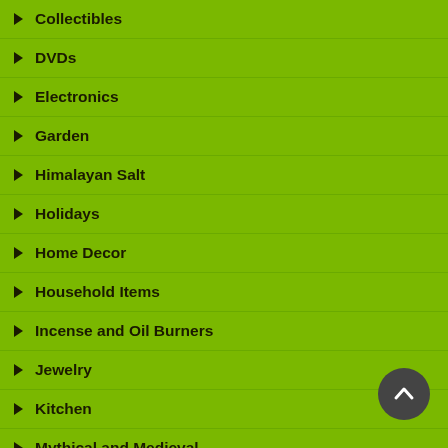Collectibles
DVDs
Electronics
Garden
Himalayan Salt
Holidays
Home Decor
Household Items
Incense and Oil Burners
Jewelry
Kitchen
Mythical and Medieval
Security
Sports and Fitness
Tools and More
Toys and Games
In Stock: 208
$35.74
Product ID: GS0000384363
ADD TO BASKET
Shimmery Eyeshadow Set With Mirror & Applicators
[Figure (photo): Product photo of Shimmery Eyeshadow Set packaging with mirror and applicators]
In Stock: 33
Product ID: GS0000364330